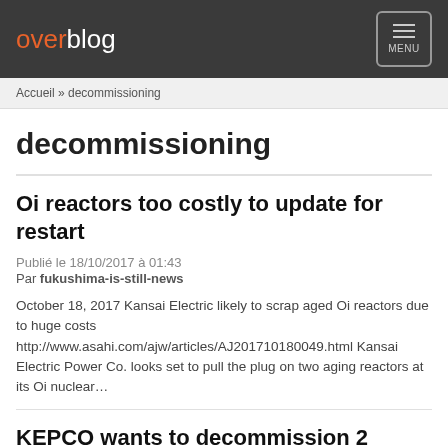overblog MENU
Accueil » decommissioning
decommissioning
Oi reactors too costly to update for restart
Publié le 18/10/2017 à 01:43
Par fukushima-is-still-news
October 18, 2017 Kansai Electric likely to scrap aged Oi reactors due to huge costs http://www.asahi.com/ajw/articles/AJ201710180049.html Kansai Electric Power Co. looks set to pull the plug on two aging reactors at its Oi nuclear…
KEPCO wants to decommission 2 reactors at Oi plant
Publié le 17/10/2017 à 01:42